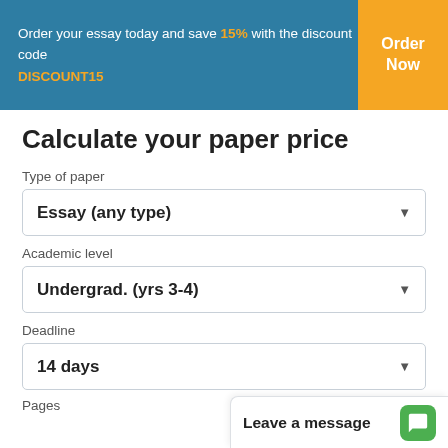Order your essay today and save 15% with the discount code DISCOUNT15
Calculate your paper price
Type of paper
Essay (any type)
Academic level
Undergrad. (yrs 3-4)
Deadline
14 days
Pages
Leave a message